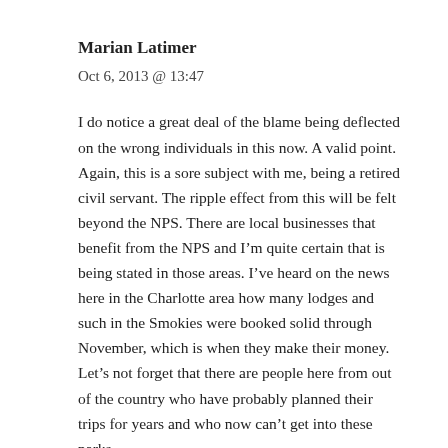Marian Latimer
Oct 6, 2013 @ 13:47
I do notice a great deal of the blame being deflected on the wrong individuals in this now. A valid point. Again, this is a sore subject with me, being a retired civil servant. The ripple effect from this will be felt beyond the NPS. There are local businesses that benefit from the NPS and I’m quite certain that is being stated in those areas. I’ve heard on the news here in the Charlotte area how many lodges and such in the Smokies were booked solid through November, which is when they make their money. Let’s not forget that there are people here from out of the country who have probably planned their trips for years and who now can’t get into these parks